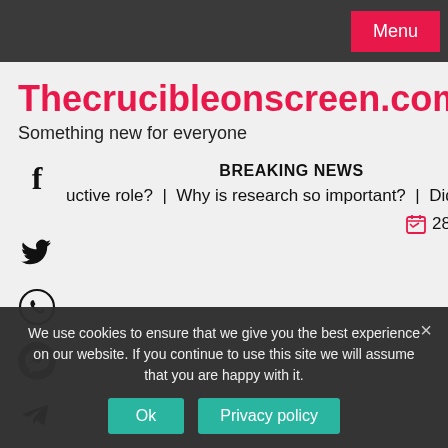Menu
Thecrucibleonscreen.com
Something new for everyone
BREAKING NEWS
uctive role?  |  Why is research so important?  |  Did Achilles
28/08/2022
We use cookies to ensure that we give you the best experience on our website. If you continue to use this site we will assume that you are happy with it.